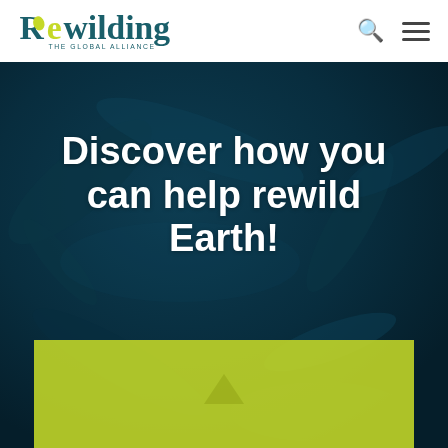[Figure (logo): Rewilding The Global Alliance logo with stylized 'R' containing a leaf motif and yellow-green 'e', text in dark teal and olive colors]
Discover how you can help rewild Earth!
[Figure (photo): Dark teal/navy nature background with blurred organic shapes, leaves or plant forms, with a yellow-green rectangular card at the bottom partially visible]